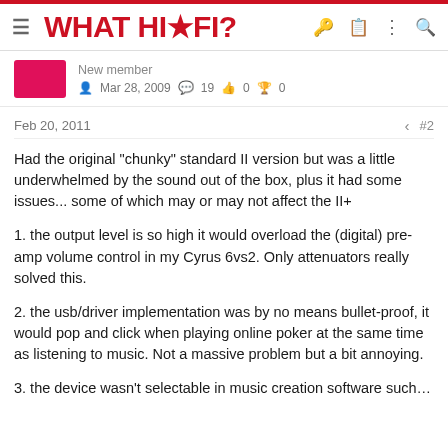WHAT HI*FI?
New member
Mar 28, 2009  19  0  0
Feb 20, 2011  #2
Had the original "chunky" standard II version but was a little underwhelmed by the sound out of the box, plus it had some issues... some of which may or may not affect the II+
1. the output level is so high it would overload the (digital) pre-amp volume control in my Cyrus 6vs2. Only attenuators really solved this.
2. the usb/driver implementation was by no means bullet-proof, it would pop and click when playing online poker at the same time as listening to music. Not a massive problem but a bit annoying.
3. the device wasn't selectable in music creation software such as